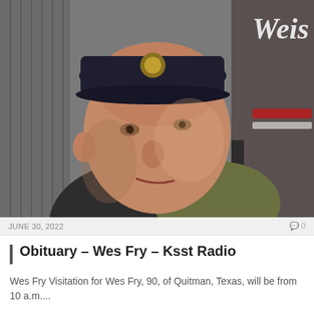[Figure (photo): Close-up photograph of an elderly man smiling, wearing a dark baseball cap with a gold emblem, a dark t-shirt and an olive/green shirt. Background shows corrugated metal walls and a neon sign partially visible reading 'Weis'. The lighting is warm on his face.]
JUNE 30, 2022
0 0
Obituary – Wes Fry – Ksst Radio
Wes Fry Visitation for Wes Fry, 90, of Quitman, Texas, will be from 10 a.m....